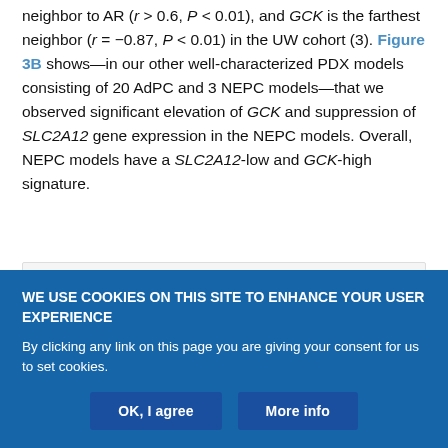neighbor to AR (r > 0.6, P < 0.01), and GCK is the farthest neighbor (r = −0.87, P < 0.01) in the UW cohort (3). Figure 3B shows—in our other well-characterized PDX models consisting of 20 AdPC and 3 NEPC models—that we observed significant elevation of GCK and suppression of SLC2A12 gene expression in the NEPC models. Overall, NEPC models have a SLC2A12-low and GCK-high signature.
[Figure (other): Partial figure panel (bottom portion cut off by cookie bar overlay)]
WE USE COOKIES ON THIS SITE TO ENHANCE YOUR USER EXPERIENCE
By clicking any link on this page you are giving your consent for us to set cookies.